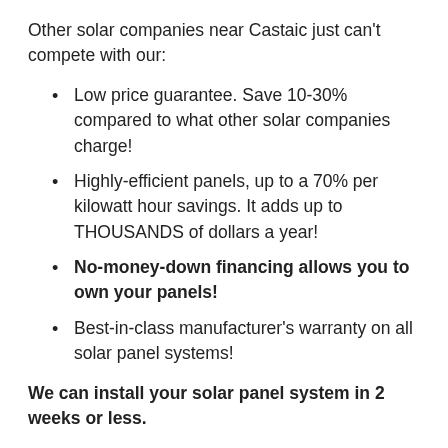Other solar companies near Castaic just can't compete with our:
Low price guarantee. Save 10-30% compared to what other solar companies charge!
Highly-efficient panels, up to a 70% per kilowatt hour savings. It adds up to THOUSANDS of dollars a year!
No-money-down financing allows you to own your panels!
Best-in-class manufacturer's warranty on all solar panel systems!
We can install your solar panel system in 2 weeks or less.